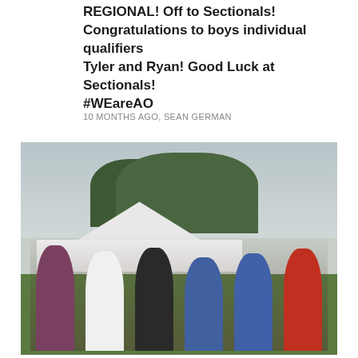REGIONAL! Off to Sectionals! Congratulations to boys individual qualifiers Tyler and Ryan! Good Luck at Sectionals! #WEareAO
10 MONTHS AGO, SEAN GERMAN
[Figure (photo): Group photo of six young female athletes posing together outdoors at a cross country meet. They are standing in front of a white pop-up canopy tent with large trees and an overcast sky in the background. The athletes are wearing various team jerseys and casual athletic wear including race bibs. A green grass field is visible.]